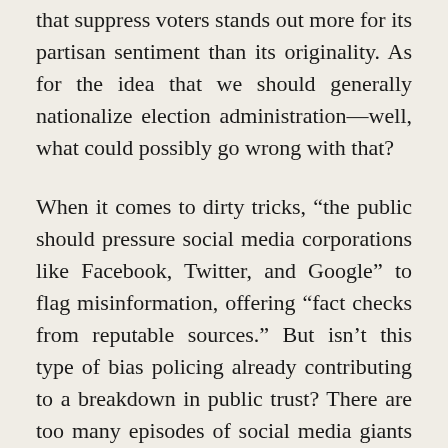that suppress voters stands out more for its partisan sentiment than its originality. As for the idea that we should generally nationalize election administration—well, what could possibly go wrong with that?
When it comes to dirty tricks, “the public should pressure social media corporations like Facebook, Twitter, and Google” to flag misinformation, offering “fact checks from reputable sources.” But isn’t this type of bias policing already contributing to a breakdown in public trust? There are too many episodes of social media giants relying on wildly partisan sources, such as the Southern Poverty Law Center, to tar conservative speakers as “hate groups” and conservative opinion as disinformation; there are too many episodes of conservative speakers being muzzled by social